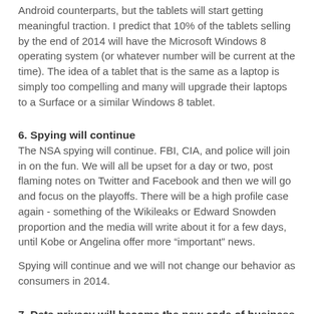Android counterparts, but the tablets will start getting meaningful traction. I predict that 10% of the tablets selling by the end of 2014 will have the Microsoft Windows 8 operating system (or whatever number will be current at the time). The idea of a tablet that is the same as a laptop is simply too compelling and many will upgrade their laptops to a Surface or a similar Windows 8 tablet.
6. Spying will continue
The NSA spying will continue. FBI, CIA, and police will join in on the fun. We will all be upset for a day or two, post flaming notes on Twitter and Facebook and then we will go and focus on the playoffs. There will be a high profile case again - something of the Wikileaks or Edward Snowden proportion and the media will write about it for a few days, until Kobe or Angelina offer more “important” news.
Spying will continue and we will not change our behavior as consumers in 2014.
7. Data privacy will become the new code of business conduct